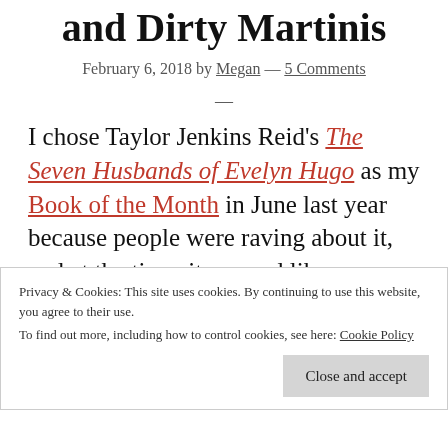and Dirty Martinis
February 6, 2018 by Megan — 5 Comments
—
I chose Taylor Jenkins Reid's The Seven Husbands of Evelyn Hugo as my Book of the Month in June last year because people were raving about it, and at the time, it seemed like
Privacy & Cookies: This site uses cookies. By continuing to use this website, you agree to their use.
To find out more, including how to control cookies, see here:
Cookie Policy
Close and accept